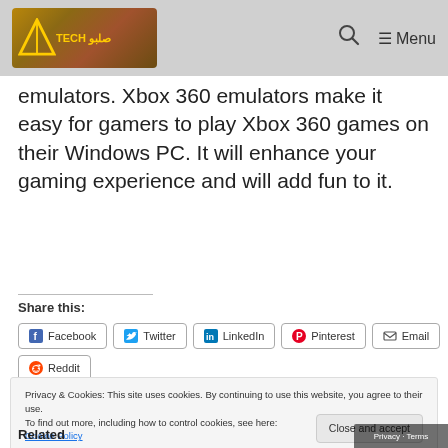Tech [logo] | Q Menu
emulators. Xbox 360 emulators make it easy for gamers to play Xbox 360 games on their Windows PC. It will enhance your gaming experience and will add fun to it.
Share this:
Facebook  Twitter  LinkedIn  Pinterest  Email  Reddit
Privacy & Cookies: This site uses cookies. By continuing to use this website, you agree to their use.
To find out more, including how to control cookies, see here:
Cookie Policy
Close and accept
Related